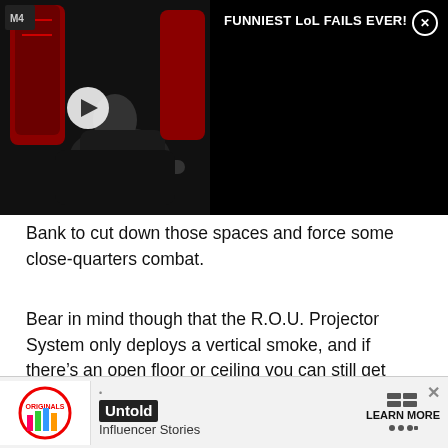[Figure (screenshot): Video player showing a gaming chair/esports scene on the left half, with black background. Right half shows black background with video title 'FUNNIEST LoL FAILS EVER!' in white text and a close (X) button.]
Bank to cut down those spaces and force some close-quarters combat.
Bear in mind though that the R.O.U. Projector System only deploys a vertical smoke, and if there’s an open floor or ceiling you can still get spotted and shot through that.
[Figure (screenshot): In-game screenshot showing a teal/green smoke effect in a game environment with a player character visible.]
[Figure (screenshot): Advertisement bar at the bottom with Originals logo, 'Untold Influencer Stories' text, and 'LEARN MORE' button.]